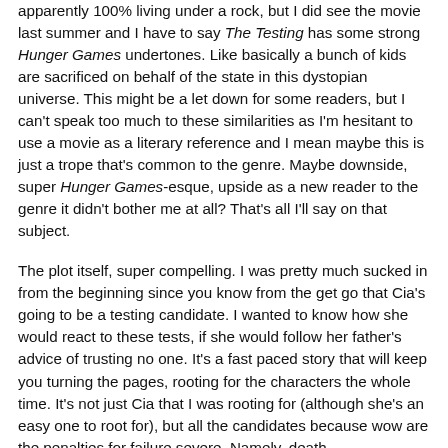apparently 100% living under a rock, but I did see the movie last summer and I have to say The Testing has some strong Hunger Games undertones. Like basically a bunch of kids are sacrificed on behalf of the state in this dystopian universe. This might be a let down for some readers, but I can't speak too much to these similarities as I'm hesitant to use a movie as a literary reference and I mean maybe this is just a trope that's common to the genre. Maybe downside, super Hunger Games-esque, upside as a new reader to the genre it didn't bother me at all? That's all I'll say on that subject.
The plot itself, super compelling. I was pretty much sucked in from the beginning since you know from the get go that Cia's going to be a testing candidate. I wanted to know how she would react to these tests, if she would follow her father's advice of trusting no one. It's a fast paced story that will keep you turning the pages, rooting for the characters the whole time. It's not just Cia that I was rooting for (although she's an easy one to root for), but all the candidates because wow are the penalties for failure severe. Namely, death.
Cia herself is super likeable. She's fairly trusting, loves her...